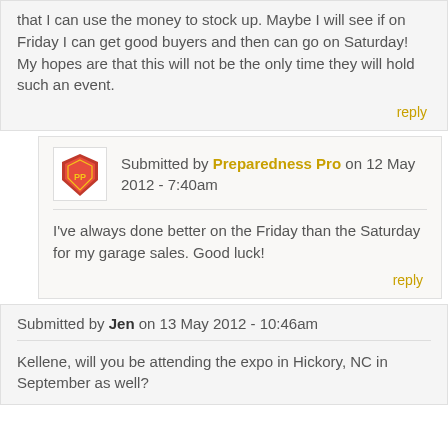that I can use the money to stock up. Maybe I will see if on Friday I can get good buyers and then can go on Saturday! My hopes are that this will not be the only time they will hold such an event.
reply
Submitted by Preparedness Pro on 12 May 2012 - 7:40am
I've always done better on the Friday than the Saturday for my garage sales. Good luck!
reply
Submitted by Jen on 13 May 2012 - 10:46am
Kellene, will you be attending the expo in Hickory, NC in September as well?